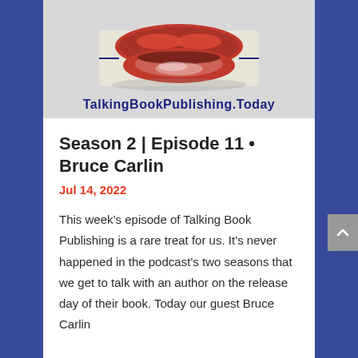[Figure (logo): TalkingBookPublishing.Today podcast logo with stylized lip/mouth graphic and London Underground-style roundel, with text 'TalkingBookPublishing.Today' in dark blue bold below]
Season 2 | Episode 11 • Bruce Carlin
Jul 14, 2022
This week's episode of Talking Book Publishing is a rare treat for us. It's never happened in the podcast's two seasons that we get to talk with an author on the release day of their book. Today our guest Bruce Carlin